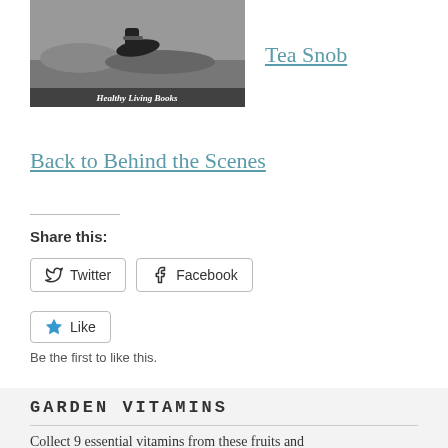[Figure (photo): Black and white photo of a person's feet/shoes with text overlay reading 'Healthy Living Books']
Tea Snob
Back to Behind the Scenes
Share this:
Twitter
Facebook
Like
Be the first to like this.
GARDEN VITAMINS
Collect 9 essential vitamins from these fruits and